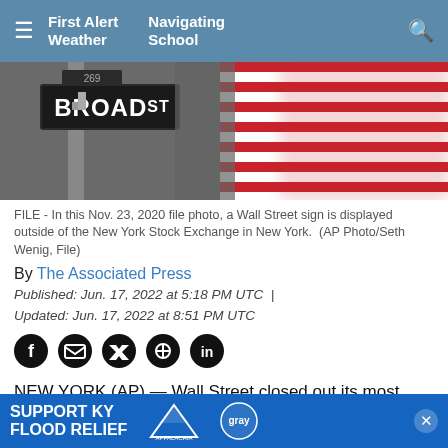First Alert Weather | Navigating School
[Figure (photo): A street sign reading 'BROAD ST' mounted on a pole, with an American flag with red and white stripes visible and blurred in the background.]
FILE - In this Nov. 23, 2020 file photo, a Wall Street sign is displayed outside of the New York Stock Exchange in New York.  (AP Photo/Seth Wenig, File)
By The Associated Press
Published: Jun. 17, 2022 at 5:18 PM UTC  |  Updated: Jun. 17, 2022 at 8:51 PM UTC
[Figure (other): Social media share icons: Facebook, Mail, Twitter, Pinterest, LinkedIn]
NEW YORK (AP) — Wall Street closed out its most punishing week since the 2020 coronavirus crash with a meand... her.
[Figure (other): Support KY Flood Relief advertisement banner with Appalachia Rises and Gray logos]